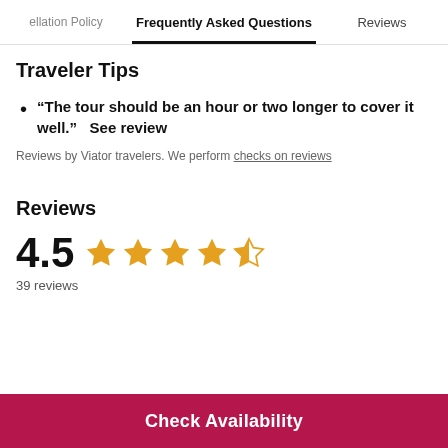ellation Policy | Frequently Asked Questions | Reviews
Traveler Tips
“The tour should be an hour or two longer to cover it well.”  See review
Reviews by Viator travelers. We perform checks on reviews
Reviews
4.5 ★★★★½
39 reviews
Check Availability